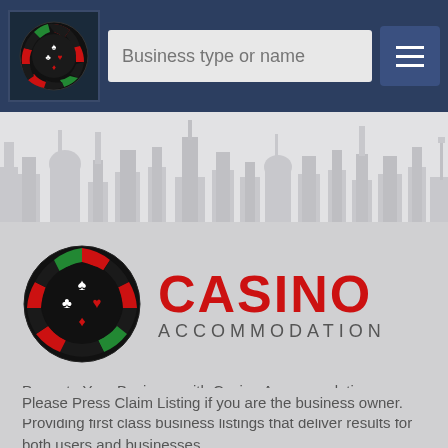[Figure (screenshot): Website navigation bar with logo, search field labeled 'Business type or name', and hamburger menu button]
[Figure (illustration): City skyline silhouette banner in light gray tones]
[Figure (logo): Casino Accommodation logo: circular casino chip icon with card suits, red text CASINO and gray text ACCOMMODATION]
Promote Your Business with Casino Accommodation
Providing first class business listings that deliver results for both users and businesses.
Please Press Claim Listing if you are the business owner.